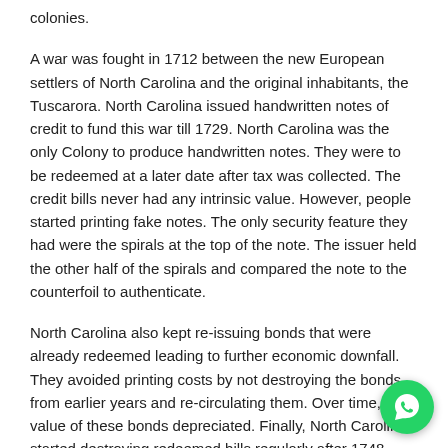colonies.
A war was fought in 1712 between the new European settlers of North Carolina and the original inhabitants, the Tuscarora. North Carolina issued handwritten notes of credit to fund this war till 1729. North Carolina was the only Colony to produce handwritten notes. They were to be redeemed at a later date after tax was collected. The credit bills never had any intrinsic value. However, people started printing fake notes. The only security feature they had were the spirals at the top of the note. The issuer held the other half of the spirals and compared the note to the counterfoil to authenticate.
North Carolina also kept re-issuing bonds that were already redeemed leading to further economic downfall. They avoided printing costs by not destroying the bonds from earlier years and re-circulating them. Over time, the value of these bonds depreciated. Finally, North Carolina started destroying redeemed bills regularly after 1748.
Wars went on which increased debt. Bills of credit were issued in 1748, 1754, 1768 and 1771 to fund different wars. The Revolutionary War began in 1775 and in 1776, North Carolina got independence from British rule. The last colonial notes were issued in 1785 to recover from the War and its economic losses.